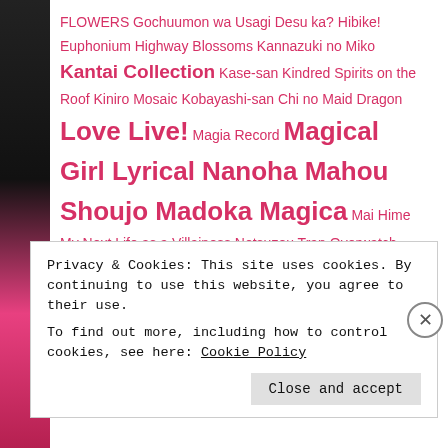FLOWERS Gochuumon wa Usagi Desu ka? Hibike! Euphonium Highway Blossoms Kannazuki no Miko Kantai Collection Kase-san Kindred Spirits on the Roof Kiniro Mosaic Kobayashi-san Chi no Maid Dragon Love Live! Magia Record Magical Girl Lyrical Nanoha Mahou Shoujo Madoka Magica Mai Hime My Next Life as a Villainess Netsuzou Trap Overwatch Princess Principal Sailor Moon Sakura Trick Senki Zesshou Symphogear Shingeki no Kyojin Shoujo Kageki Revue Starlight Sono Hanabira Strawberry Panic Strike Witches
Privacy & Cookies: This site uses cookies. By continuing to use this website, you agree to their use.
To find out more, including how to control cookies, see here: Cookie Policy
Close and accept